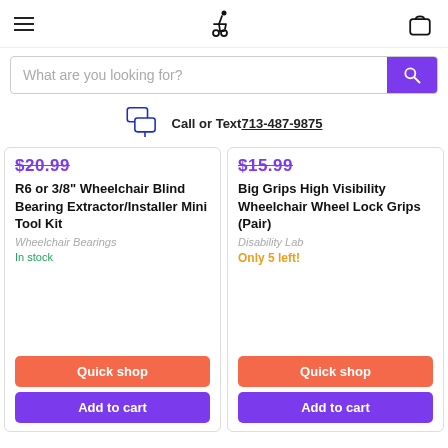Navigation header with hamburger menu, wheelchair accessibility logo, and shopping cart icon
What are you looking for?
Call or Text 713-487-9875
$20.99
R6 or 3/8" Wheelchair Blind Bearing Extractor/Installer Mini Tool Kit
Wheelchair Bearings
In stock
$15.99
Big Grips High Visibility Wheelchair Wheel Lock Grips (Pair)
Disability Lab
Only 5 left!